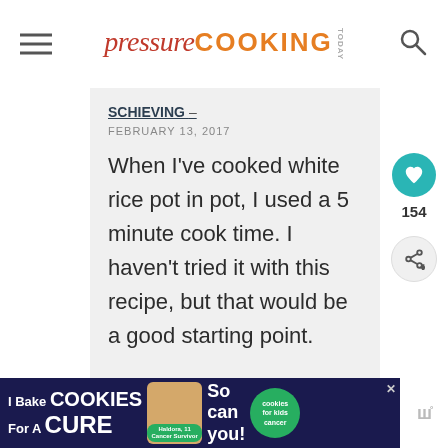pressure COOKING TODAY
SCHIEVING –
FEBRUARY 13, 2017
When I've cooked white rice pot in pot, I used a 5 minute cook time. I haven't tried it with this recipe, but that would be a good starting point.
[Figure (screenshot): Ad banner: I Bake COOKIES For A CURE. Haldora, 11 Cancer Survivor. So can you! cookies for kids cancer logo.]